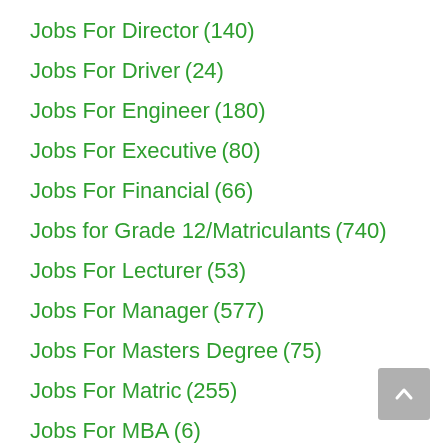Jobs For Director (140)
Jobs For Driver (24)
Jobs For Engineer (180)
Jobs For Executive (80)
Jobs For Financial (66)
Jobs for Grade 12/Matriculants (740)
Jobs For Lecturer (53)
Jobs For Manager (577)
Jobs For Masters Degree (75)
Jobs For Matric (255)
Jobs For MBA (6)
Jobs For Nurse (65)
Jobs For Nursing (27)